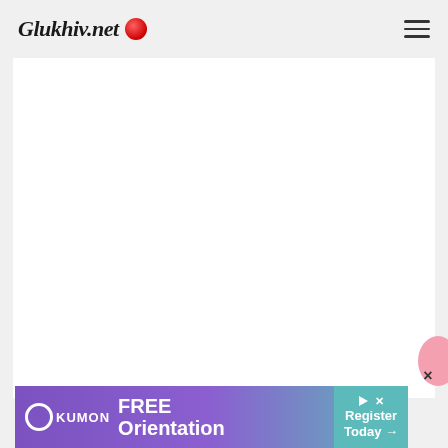Glukhiv.net
[Figure (screenshot): White content area placeholder with light gray background, part of a news/blog website layout]
[Figure (illustration): Pink circular element partially visible at bottom right, likely a floating button or avatar]
×
[Figure (infographic): Kumon advertisement banner: purple to teal gradient background. Left: Kumon logo (circle with name). Center: 'FREE Orientation' in bold white text. Right: teal area with play icon, X close button, 'Register Today →' in white text.]